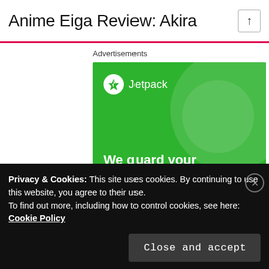Anime Eiga Review: Akira
Advertisements
[Figure (screenshot): Jetpack advertisement banner with green background. Shows Jetpack logo at top left, large white circle decoration top right, text 'We guard your WordPress site. You run your business.' and a white 'Secure Your Site' button at the bottom.]
Privacy & Cookies: This site uses cookies. By continuing to use this website, you agree to their use.
To find out more, including how to control cookies, see here: Cookie Policy